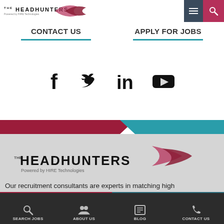[Figure (logo): The Headhunters logo with arrow graphic, Powered by HIRE Technologies tagline]
CONTACT US
APPLY FOR JOBS
[Figure (illustration): Social media icons: Facebook, Twitter, LinkedIn, YouTube]
[Figure (logo): The Headhunters footer logo with arrow graphic, Powered by HIRE Technologies]
Our recruitment consultants are experts in matching high performing professionals to positions across North America.
TIMESHEET
888.887.4868
SEARCH JOBS  ABOUT US  BLOG  CONTACT US